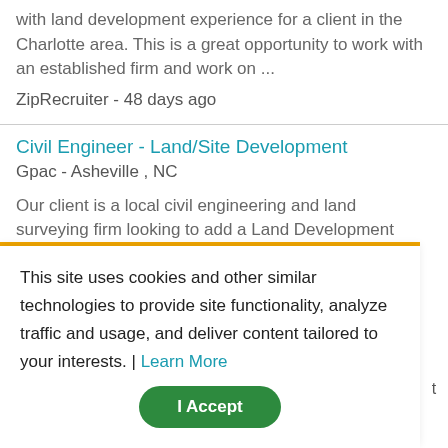with land development experience for a client in the Charlotte area. This is a great opportunity to work with an established firm and work on ...
ZipRecruiter - 48 days ago
Civil Engineer - Land/Site Development
Gpac - Asheville , NC
Our client is a local civil engineering and land surveying firm looking to add a Land Development Engineer to their family-like team! They work projects of all sizes, and properly manage them. They ...
ZipRecruiter ATS Jobs for ZipSearch/ZipAlerts - 3
This site uses cookies and other similar technologies to provide site functionality, analyze traffic and usage, and deliver content tailored to your interests. | Learn More
I Accept